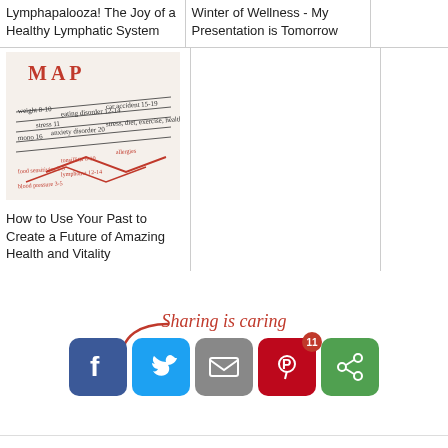Lymphapalooza! The Joy of a Healthy Lymphatic System
Winter of Wellness - My Presentation is Tomorrow
[Figure (photo): A MAP diagram showing handwritten health/wellness timeline with orange and black text on a cream background]
How to Use Your Past to Create a Future of Amazing Health and Vitality
Sharing is caring
[Figure (infographic): Social sharing buttons: Facebook, Twitter, Email, Pinterest (with badge showing 11), and More sharing options (green)]